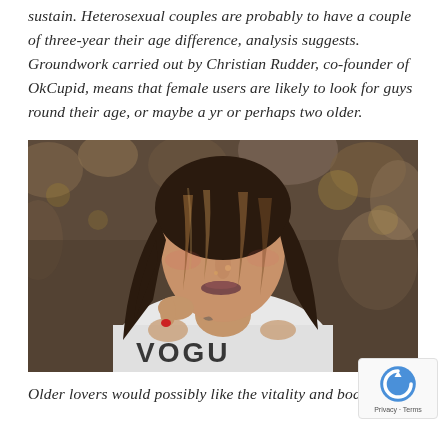sustain. Heterosexual couples are probably to have a couple of three-year their age difference, analysis suggests. Groundwork carried out by Christian Rudder, co-founder of OkCupid, means that female users are likely to look for guys round their age, or maybe a yr or perhaps two older.
[Figure (photo): Close-up portrait of a young woman with shoulder-length brown hair with highlights, wearing a white t-shirt, looking downward, with a blurred outdoor background of browns and greens.]
Older lovers would possibly like the vitality and bodily